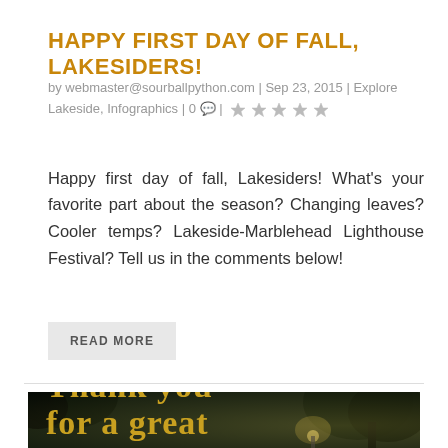HAPPY FIRST DAY OF FALL, LAKESIDERS!
by webmaster@sourballpython.com | Sep 23, 2015 | Explore Lakeside, Infographics | 0 💬 | ★☆☆☆☆
Happy first day of fall, Lakesiders! What's your favorite part about the season? Changing leaves? Cooler temps? Lakeside-Marblehead Lighthouse Festival? Tell us in the comments below!
READ MORE
[Figure (photo): Banner image with dark background and trees, showing golden text: 'Thank you for a great 142nd season!']